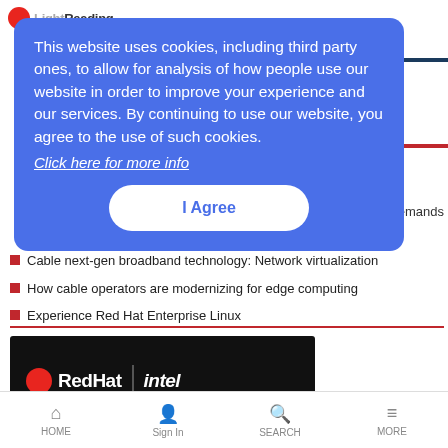Light Reading
This website uses cookies, including third party ones, to allow for analysis of how people use our website in order to improve your experience and our services. By continuing to use our website, you agree to the use of such cookies. Click here for more info
I Agree
demands
Cable next-gen broadband technology: Network virtualization
How cable operators are modernizing for edge computing
Experience Red Hat Enterprise Linux
[Figure (logo): Red Hat | intel logo on black background banner]
HOME  Sign In  SEARCH  MORE